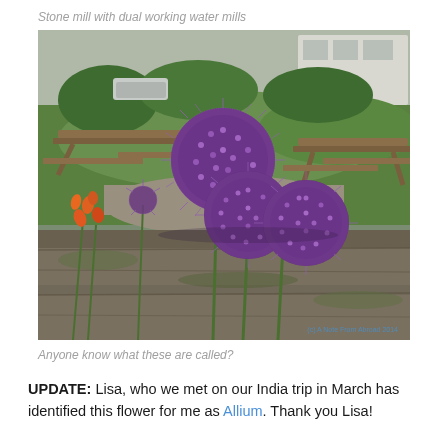Stone mill with dual working water mills
[Figure (photo): Close-up photo of purple Allium flowers (round spiky globes) resting on a mossy stone wall, with wooden picnic tables and a green lawn in the background. Watermark reads '(c) A Note From Abroad 2014'.]
Anyone know what these are called?
UPDATE:  Lisa, who we met on our India trip in March has identified this flower for me as Allium.  Thank you Lisa!